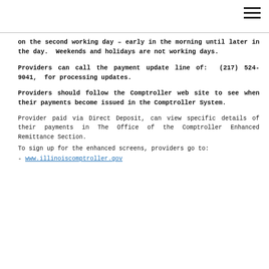on the second working day – early in the morning until later in the day.  Weekends and holidays are not working days.
Providers can call the payment update line of:  (217) 524-9041,  for processing updates.
Providers should follow the Comptroller web site to see when their payments become issued in the Comptroller System.
Provider paid via Direct Deposit, can view specific details of their payments in The Office of the Comptroller Enhanced Remittance Section.
To sign up for the enhanced screens, providers go to:
- www.illinoiscomptroller.gov